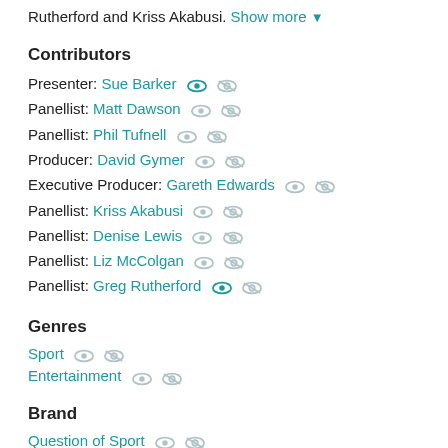Rutherford and Kriss Akabusi. Show more ▼
Contributors
Presenter: Sue Barker
Panellist: Matt Dawson
Panellist: Phil Tufnell
Producer: David Gymer
Executive Producer: Gareth Edwards
Panellist: Kriss Akabusi
Panellist: Denise Lewis
Panellist: Liz McColgan
Panellist: Greg Rutherford
Genres
Sport
Entertainment
Brand
Question of Sport